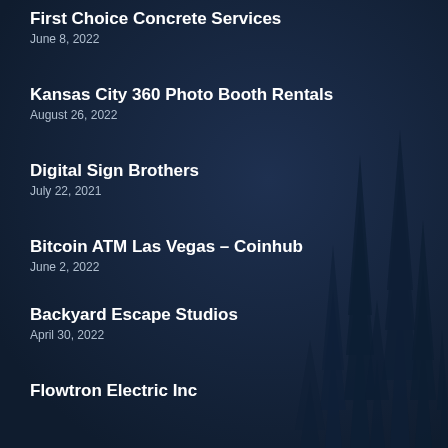First Choice Concrete Services
June 8, 2022
Kansas City 360 Photo Booth Rentals
August 26, 2022
Digital Sign Brothers
July 22, 2021
Bitcoin ATM Las Vegas – Coinhub
June 2, 2022
Backyard Escape Studios
April 30, 2022
Flowtron Electric Inc